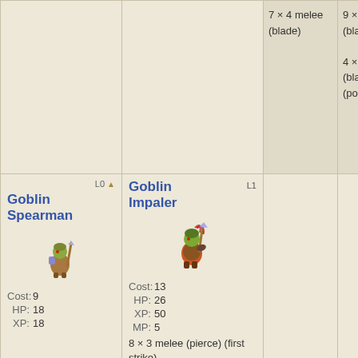| Unit | Unit Details | Attacks col1 | Attacks col2 |
| --- | --- | --- | --- |
|  |  | 7 × 4 melee (blade) | 9 × 4 melee (blade)
4 × 4 melee (blade) (poison) |
| L0 ▲
Goblin Spearman
[sprite]
Cost: 9
HP: 18
XP: 18 | Goblin Impaler L1
[sprite]
Cost: 13
HP: 26
XP: 50
MP: 5
8 × 3 melee (pierce) (first strike)
5 × 1 ranged (pierce) |  |  |
|  | Goblin L1 |  |  |